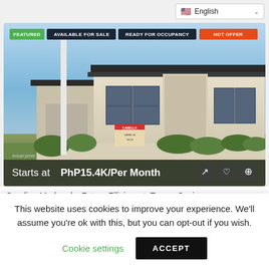English (language selector)
[Figure (photo): Photo of a modern bungalow house for sale with blue sky background, green lawn, and shrubs. Badges: FEATURED, AVAILABLE FOR SALE, READY FOR OCCUPANCY, HOT OFFER. Price: Starts at PhP15.4K/Per Month. Actual photo label at bottom left.]
Caroline Modern by Future Filipinvest, Tanza, Cavi...
This website uses cookies to improve your experience. We'll assume you're ok with this, but you can opt-out if you wish.
Cookie settings
ACCEPT